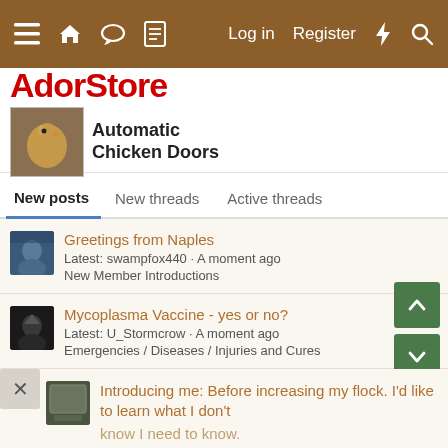≡  🏠  💬  📄    Log in  Register  ⚡  🔍
[Figure (logo): AdorStore Automatic Chicken Doors logo with chicken image]
New posts  New threads  Active threads
Greetings from Naples
Latest: swampfox440 · A moment ago
New Member Introductions
Mycoplasma Vaccine - yes or no?
Latest: U_Stormcrow · A moment ago
Emergencies / Diseases / Injuries and Cures
Introducing me: Before increasing my flock. I'd like to learn what I don't know I need to know.
Latest: Callender Girl · A moment ago